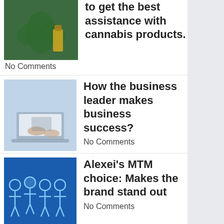[Figure (photo): Cannabis plant and oil bottle thumbnail]
to get the best assistance with cannabis products.
No Comments
[Figure (photo): Business person working on laptop thumbnail]
How the business leader makes business success?
No Comments
[Figure (illustration): Blue background with team/group icons illustration]
Alexei's MTM choice: Makes the brand stand out
No Comments
[Figure (photo): AI on Finance concept with chat bubble on phone]
The Impact Of AI On Finance
No Comments
[Figure (photo): Product category selection concept image]
Select the product category of your choice to get a free pricing estimate.
No Comments
[Figure (photo): Conversational AI concept thumbnail]
Conversational AI: Works for